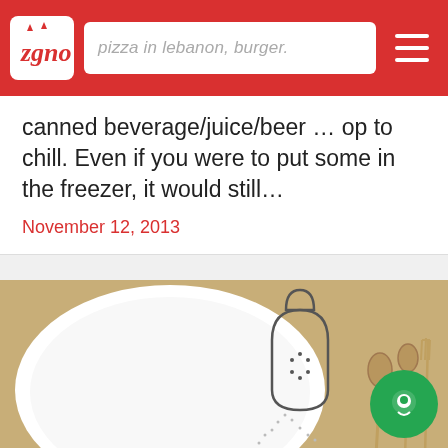zgno — pizza in lebanon, burger.
canned beverage/juice/beer … op to chill. Even if you were to put some in the freezer, it would still…
November 12, 2013
[Figure (photo): A white ceramic plate with an engraved spice shaker illustration, next to small spoons and forks on a wooden surface. Circular navigation dots visible at the bottom.]
FOOD GADGETS
Four Seasons Spice Shakers
Here's something fun that will definitely add some spice into your life. Four Seasons Spice Shakers dining accessories bring style and pizazz